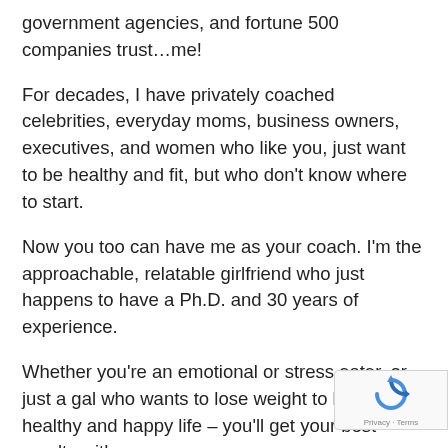government agencies, and fortune 500 companies trust…me!
For decades, I have privately coached celebrities, everyday moms, business owners, executives, and women who like you, just want to be healthy and fit, but who don't know where to start.
Now you too can have me as your coach. I'm the approachable, relatable girlfriend who just happens to have a Ph.D. and 30 years of experience.
Whether you're an emotional or stress eater, or just a gal who wants to lose weight to live a healthy and happy life – you'll get your best results with me.
With this one-time offer, I have opened my coaching business to a broader audience – beyond my high…